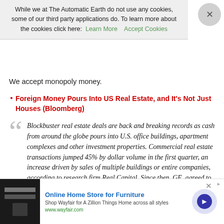While we at The Automatic Earth do not use any cookies, some of our third party applications do. To learn more about the cookies click here: Learn More   Accept Cookies
We accept monopoly money.
Foreign Money Pours Into US Real Estate, and It's Not Just Houses (Bloomberg)
Blockbuster real estate deals are back and breaking records as cash from around the globe pours into U.S. office buildings, apartment complexes and other investment properties. Commercial real estate transactions jumped 45% by dollar volume in the first quarter, an increase driven by sales of multiple buildings or entire companies, according to research firm Real Capital. Since then, GE. agreed to sell real estate assets to Blackstone and Wells Fargo in a deal valued at about $23 billion, the largest property purchase since the financial crisis. As the pot of money set aside for U.S. commercial real estate
Online Home Store for Furniture
Shop Wayfair for A Zillion Things Home across all styles
www.wayfair.com